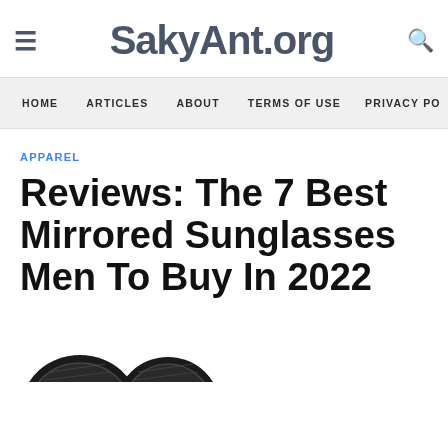SakyAnt.org
HOME  ARTICLES  ABOUT  TERMS OF USE  PRIVACY PO
APPAREL
Reviews: The 7 Best Mirrored Sunglasses Men To Buy In 2022
[Figure (photo): Mirrored sunglasses product image, dark frame with reflective lenses, partially visible at bottom of page]